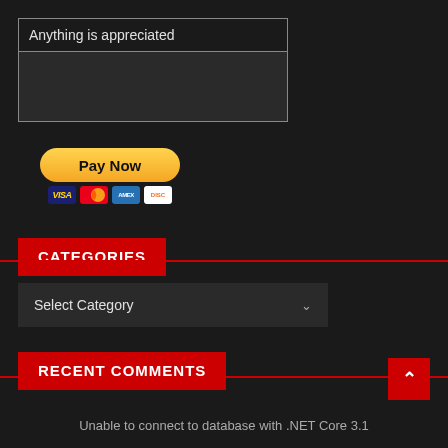Anything is appreciated
[Figure (other): PayPal Pay Now button with Visa, Mastercard, American Express, and Discover card logos beneath it]
CATEGORIES
Select Category
RECENT COMMENTS
Unable to connect to database with .NET Core 3.1